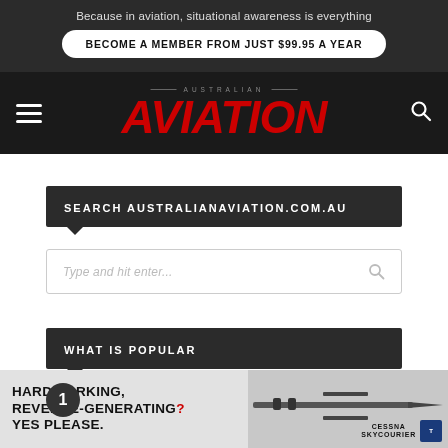Because in aviation, situational awareness is everything
BECOME A MEMBER FROM JUST $99.95 A YEAR
[Figure (logo): Australian Aviation logo — red italic bold AVIATION text with AUSTRALIAN subtitle]
SEARCH AUSTRALIANAVIATION.COM.AU
Type and hit enter...
WHAT IS POPULAR
[Figure (photo): Advertisement banner: Cessna SkyCourier turboprop aircraft — HARDWORKING. REVENUE-GENERATING? YES PLEASE. with Cessna SkyCourier logo]